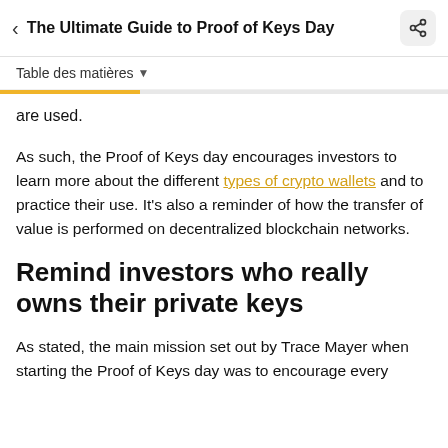The Ultimate Guide to Proof of Keys Day
Table des matières
are used.
As such, the Proof of Keys day encourages investors to learn more about the different types of crypto wallets and to practice their use. It's also a reminder of how the transfer of value is performed on decentralized blockchain networks.
Remind investors who really owns their private keys
As stated, the main mission set out by Trace Mayer when starting the Proof of Keys day was to encourage every